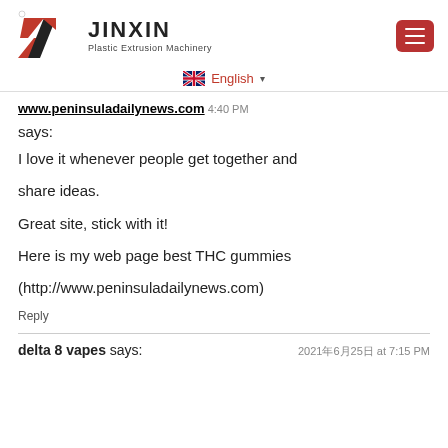[Figure (logo): Jinxin Plastic Extrusion Machinery logo with stylized Z/Y graphic in red and black]
English ▾
www.peninsuladailynews.com 4:40 PM
says:
I love it whenever people get together and share ideas.

Great site, stick with it!

Here is my web page best THC gummies (http://www.peninsuladailynews.com)
Reply
delta 8 vapes says:
2021年6月25日 at 7:15 PM